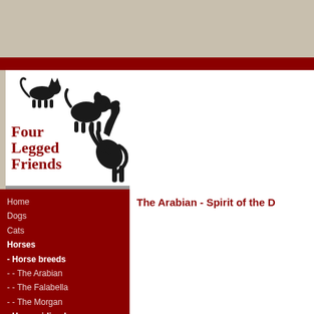[Figure (logo): Four Legged Friends logo with silhouettes of a cat, dog, and horse. Text reads 'Four Legged Friends' in dark red serif letters.]
Home
Dogs
Cats
Horses
- Horse breeds
- - The Arabian
- - The Falabella
- - The Morgan
- Horse riding lessons
- Respect
- Horse health
- Horse rescue
The Arabian - Spirit of the D